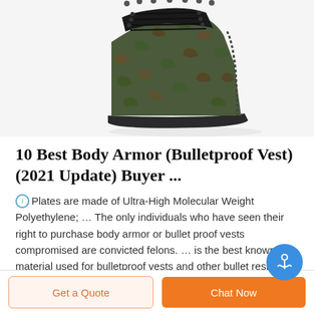[Figure (photo): Partial view of a camouflage military/tactical boot with dark laces and zipper, shown from ankle up, on white background.]
10 Best Body Armor (Bulletproof Vest) (2021 Update) Buyer ...
Plates are made of Ultra-High Molecular Weight Polyethylene; … The only individuals who have seen their right to purchase body armor or bullet proof vests compromised are convicted felons. … is the best known material used for bulletproof vests and other bullet resistant items. That's largely because it …